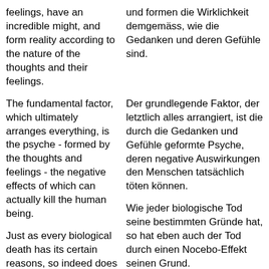feelings, have an incredible might, and form reality according to the nature of the thoughts and their feelings.
und formen die Wirklichkeit demgemäss, wie die Gedanken und deren Gefühle sind.
The fundamental factor, which ultimately arranges everything, is the psyche - formed by the thoughts and feelings - the negative effects of which can actually kill the human being.
Der grundlegende Faktor, der letztlich alles arrangiert, ist die durch die Gedanken und Gefühle geformte Psyche, deren negative Auswirkungen den Menschen tatsächlich töten können.
Just as every biological death has its certain reasons, so indeed does death resulting from a nocebo effect also have
Wie jeder biologische Tod seine bestimmten Gründe hat, so hat eben auch der Tod durch einen Nocebo-Effekt seinen Grund.